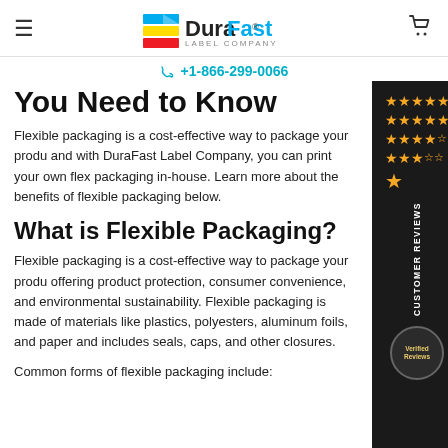DuraFast Label Company
+1-866-299-0066
You Need to Know
Flexible packaging is a cost-effective way to package your products, and with DuraFast Label Company, you can print your own flexible packaging in-house. Learn more about the benefits of flexible packaging below.
What is Flexible Packaging?
Flexible packaging is a cost-effective way to package your products, offering product protection, consumer convenience, and environmental sustainability. Flexible packaging is made of materials like plastics, polyesters, aluminum foils, and paper and includes seals, caps, and other closures.
Common forms of flexible packaging include: